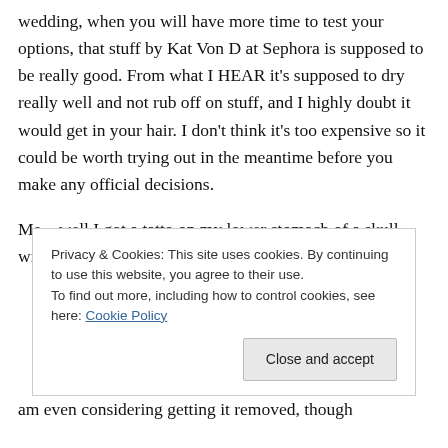wedding, when you will have more time to test your options, that stuff by Kat Von D at Sephora is supposed to be really good. From what I HEAR it's supposed to dry really well and not rub off on stuff, and I highly doubt it would get in your hair. I don't think it's too expensive so it could be worth trying out in the meantime before you make any official decisions.
Me…well I got a tatto on my lower stomach of a skull with butterflies at the prompting of my ex,
Privacy & Cookies: This site uses cookies. By continuing to use this website, you agree to their use.
To find out more, including how to control cookies, see here: Cookie Policy
am even considering getting it removed, though